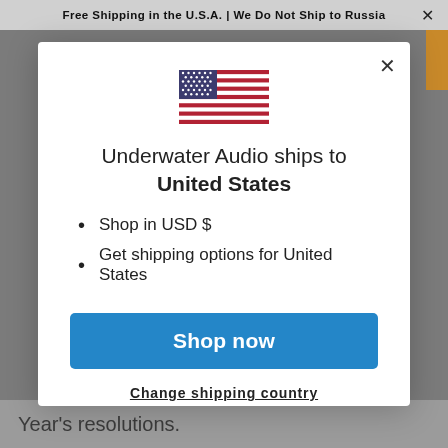Free Shipping in the U.S.A. | We Do Not Ship to Russia
[Figure (illustration): US Flag SVG illustration inside modal dialog]
Underwater Audio ships to United States
Shop in USD $
Get shipping options for United States
Shop now
Change shipping country
Year's resolutions.